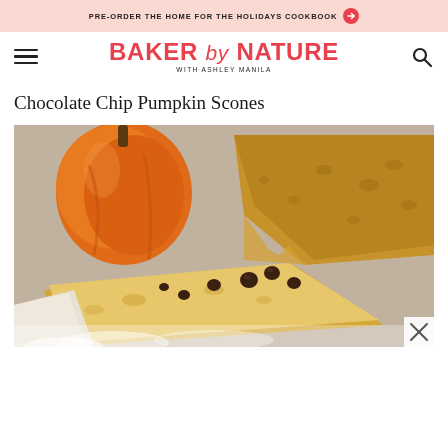PRE-ORDER THE HOME FOR THE HOLIDAYS COOKBOOK →
[Figure (logo): Baker by Nature logo with Ashley Manila subtitle, red/pink text]
Chocolate Chip Pumpkin Scones
[Figure (photo): Close-up photo of chocolate chip pumpkin scones on a baking sheet with a small orange pumpkin in the background. The scones are golden-brown with visible chocolate chips on top, dusted with sugar.]